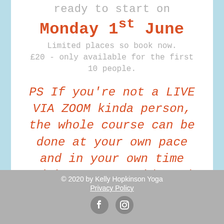ready to start on
Monday 1st June
Limited places so book now. £20 - only available for the first 10 people.
PS If you're not a LIVE VIA ZOOM kinda person, the whole course can be done at your own pace and in your own time with me as a guide and support throughout the month and beyond.
Book now
© 2020 by Kelly Hopkinson Yoga
Privacy Policy